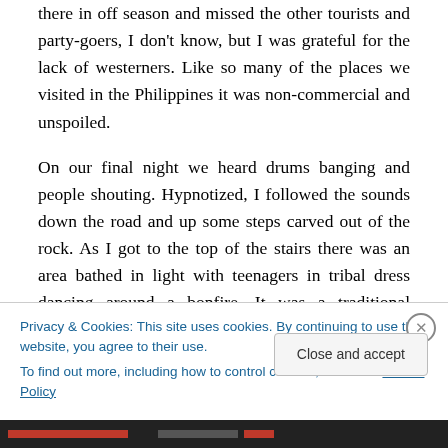there in off season and missed the other tourists and party-goers, I don't know, but I was grateful for the lack of westerners. Like so many of the places we visited in the Philippines it was non-commercial and unspoiled.
On our final night we heard drums banging and people shouting. Hypnotized, I followed the sounds down the road and up some steps carved out of the rock. As I got to the top of the stairs there was an area bathed in light with teenagers in tribal dress dancing around a bonfire. It was a traditional performance for parents by children from a
Privacy & Cookies: This site uses cookies. By continuing to use this website, you agree to their use.
To find out more, including how to control cookies, see here: Cookie Policy